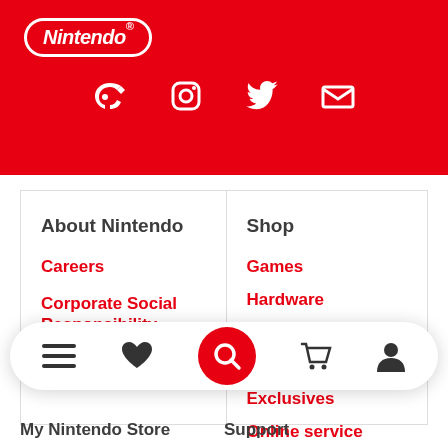Nintendo
[Figure (other): Social media icons: Nintendo (bird-like), Instagram, Twitter, email/envelope — white icons on red background]
About Nintendo
Careers
Corporate Social Responsibility
Shop
Games
Hardware
Merchandise
Sales & deals
Exclusives
Online service
[Figure (other): Bottom navigation bar with hamburger menu, heart/wishlist, red search button, shopping cart, and user/account icons]
My Nintendo Store
Support